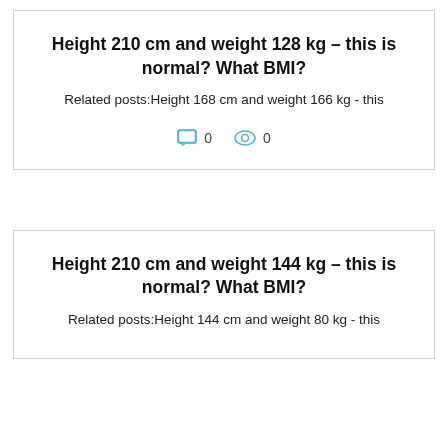Height 210 cm and weight 128 kg – this is normal? What BMI?
Related posts:Height 168 cm and weight 166 kg - this
0   0
Height 210 cm and weight 144 kg – this is normal? What BMI?
Related posts:Height 144 cm and weight 80 kg - this